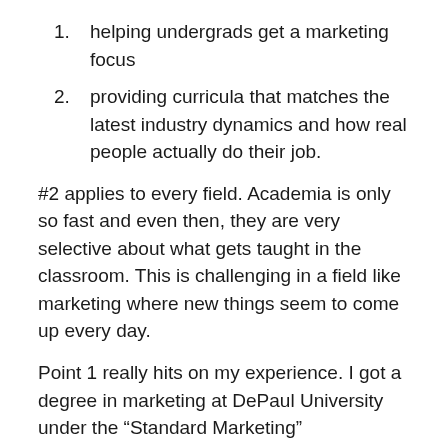helping undergrads get a marketing focus
providing curricula that matches the latest industry dynamics and how real people actually do their job.
#2 applies to every field. Academia is only so fast and even then, they are very selective about what gets taught in the classroom. This is challenging in a field like marketing where new things seem to come up every day.
Point 1 really hits on my experience. I got a degree in marketing at DePaul University under the “Standard Marketing” concentration. When I was there, the only other concentration they had under the marketing degree was, funny enough, “Sales Leadership”. So I wasn’t going for that. They have since launched a